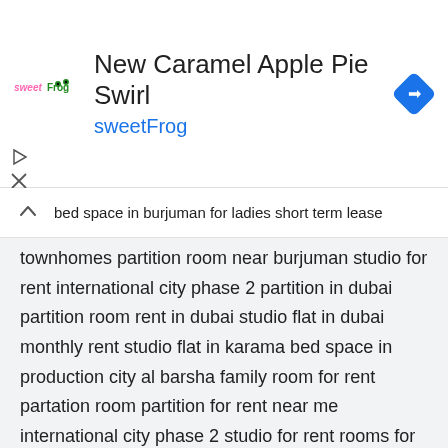[Figure (screenshot): sweetFrog advertisement banner with logo, title 'New Caramel Apple Pie Swirl', subtitle 'sweetFrog', and a blue navigation arrow icon on the right.]
bed space in burjuman for ladies short term lease
townhomes partition room near burjuman studio for rent international city phase 2 partition in dubai partition room rent in dubai studio flat in dubai monthly rent studio flat in karama bed space in production city al barsha family room for rent partation room partition for rent near me international city phase 2 studio for rent rooms for monthly rent in al qusais furnished apartment for 1 month in dubai sharing room in international city loft partition in burjuman bed space in arjan monthly furnished apartments flats for rent in karama 9 month lease apartments short term hotel apartments dubai studio flat in burjuman partition room in international city villa for rent al barsha short term furnished apartments in dubai short term studio family partition room in karama short term unfurnished rentals rent